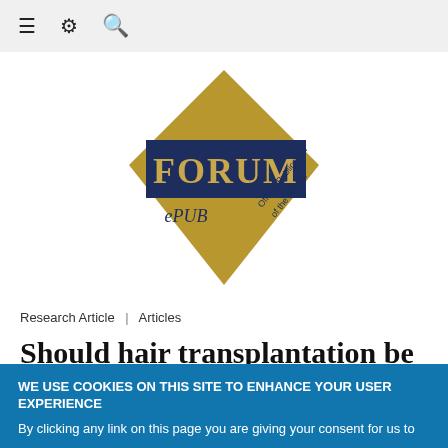≡ ⚙ 🔍
[Figure (logo): Forum ePUB journal logo — gold diamond shape with dark navy blue rectangle overlaid reading FORUM, and gold text ePUB and Official Publication of the ISHRS on the diamond]
Research Article | Articles
Should hair transplantation be performed in psoriasis?
WE USE COOKIES ON THIS SITE TO ENHANCE YOUR USER EXPERIENCE
By clicking any link on this page you are giving your consent for us to store cookies.